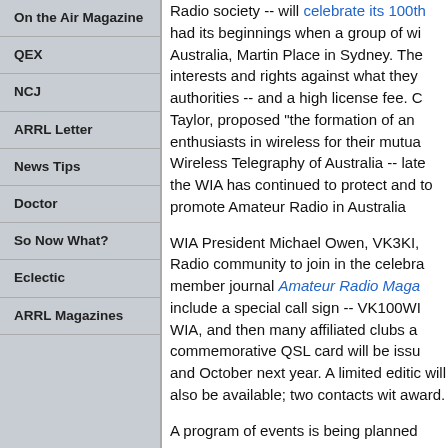On the Air Magazine
QEX
NCJ
ARRL Letter
News Tips
Doctor
So Now What?
Eclectic
ARRL Magazines
Radio society -- will celebrate its 100th had its beginnings when a group of wi Australia, Martin Place in Sydney. The interests and rights against what they authorities -- and a high license fee. C Taylor, proposed "the formation of an enthusiasts in wireless for their mutua Wireless Telegraphy of Australia -- late the WIA has continued to protect and to promote Amateur Radio in Australia
WIA President Michael Owen, VK3KI, Radio community to join in the celebra member journal Amateur Radio Maga include a special call sign -- VK100WI WIA, and then many affiliated clubs a commemorative QSL card will be issu and October next year. A limited editic will also be available; two contacts wit award.
A program of events is being planned